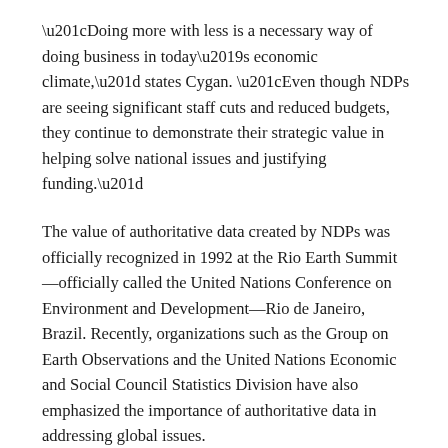“Doing more with less is a necessary way of doing business in today’s economic climate,” states Cygan. “Even though NDPs are seeing significant staff cuts and reduced budgets, they continue to demonstrate their strategic value in helping solve national issues and justifying funding.”
The value of authoritative data created by NDPs was officially recognized in 1992 at the Rio Earth Summit—officially called the United Nations Conference on Environment and Development—Rio de Janeiro, Brazil. Recently, organizations such as the Group on Earth Observations and the United Nations Economic and Social Council Statistics Division have also emphasized the importance of authoritative data in addressing global issues.